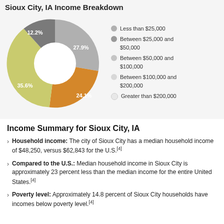Sioux City, IA Income Breakdown
[Figure (donut-chart): Sioux City, IA Income Breakdown]
Income Summary for Sioux City, IA
Household income: The city of Sioux City has a median household income of $48,250, versus $62,843 for the U.S.[4]
Compared to the U.S.: Median household income in Sioux City is approximately 23 percent less than the median income for the entire United States.[4]
Poverty level: Approximately 14.8 percent of Sioux City households have incomes below poverty level.[4]